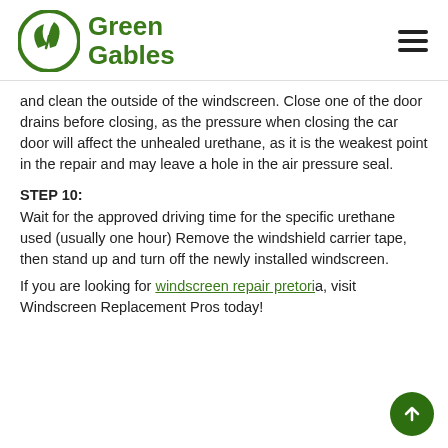Green Gables
and clean the outside of the windscreen. Close one of the door drains before closing, as the pressure when closing the car door will affect the unhealed urethane, as it is the weakest point in the repair and may leave a hole in the air pressure seal.
STEP 10:
Wait for the approved driving time for the specific urethane used (usually one hour) Remove the windshield carrier tape, then stand up and turn off the newly installed windscreen.
If you are looking for windscreen repair pretoria, visit Windscreen Replacement Pros today!